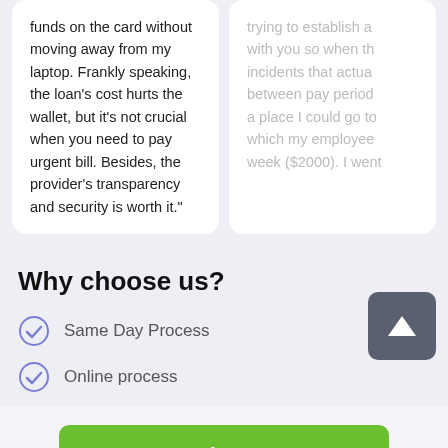funds on the card without moving away from my laptop. Frankly speaking, the loan's cost hurts the wallet, but it's not crucial when you need to pay urgent bill. Besides, the provider's transparency and security is worth it.”
trying to establish a with you so when the incidents that actual between pay period a place I could go to which my employee week ($2000). I went
Why choose us?
Same Day Process
Online process
Apply Now
Applying does NOT affect your credit score!
No credit check to apply.